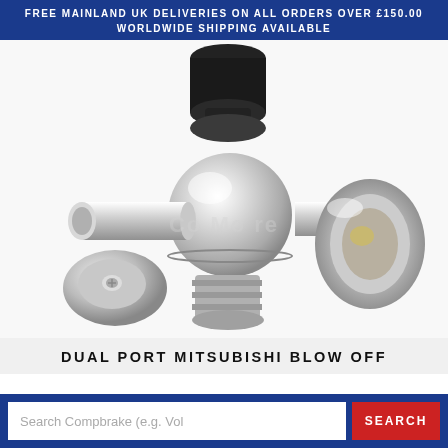FREE MAINLAND UK DELIVERIES ON ALL ORDERS OVER £150.00
WORLDWIDE SHIPPING AVAILABLE
[Figure (photo): Close-up photo of a dual port Mitsubishi blow off valve component. The chrome/silver metallic valve body is shown with a black top cap, a port extending to the left, a large flared trumpet-shaped outlet on the right, and a flat circular cap piece in the lower left. The overall appearance is a high-quality automotive blow off valve.]
DUAL PORT MITSUBISHI BLOW OFF
Search Compbrake (e.g. Vol    SEARCH